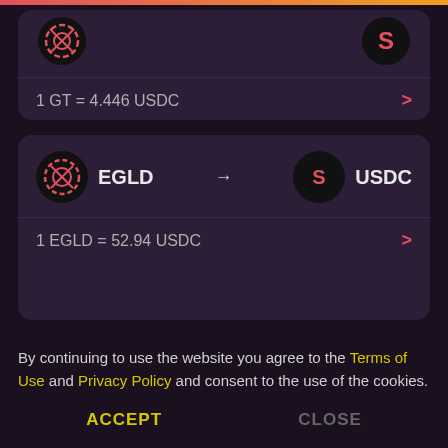[Figure (screenshot): Partial top card showing two token icons (GT and another token) partially cropped at top of page]
1 GT = 4.446 USDC
[Figure (screenshot): Token swap card showing EGLD to USDC exchange pair with icons]
1 EGLD = 52.94 USDC
By continuing to use the website you agree to the Terms of Use and Privacy Policy and consent to the use of the cookies.
ACCEPT
CLOSE